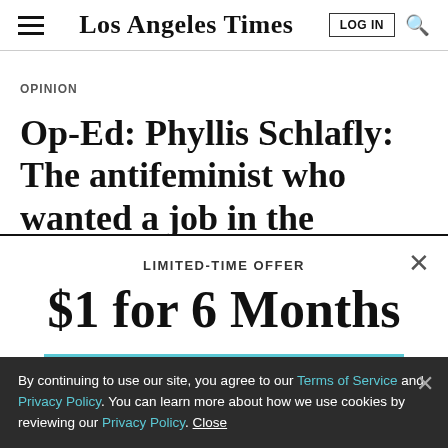Los Angeles Times
OPINION
Op-Ed: Phyllis Schlafly: The antifeminist who wanted a job in the
LIMITED-TIME OFFER
$1 for 6 Months
SUBSCRIBE NOW
By continuing to use our site, you agree to our Terms of Service and Privacy Policy. You can learn more about how we use cookies by reviewing our Privacy Policy. Close